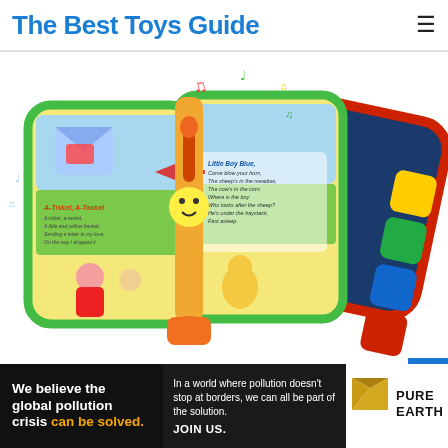The Best Toys Guide
[Figure (photo): VTech musical nursery rhymes book toy shown fanned open displaying colorful pages with illustrated characters, nursery rhyme text, and musical note decorations on a white background]
[Figure (other): Blue button/banner area below product image]
[Figure (infographic): Pure Earth advertisement banner: 'We believe the global pollution crisis can be solved. In a world where pollution doesn't stop at borders, we can all be part of the solution. JOIN US.' with Pure Earth diamond logo]